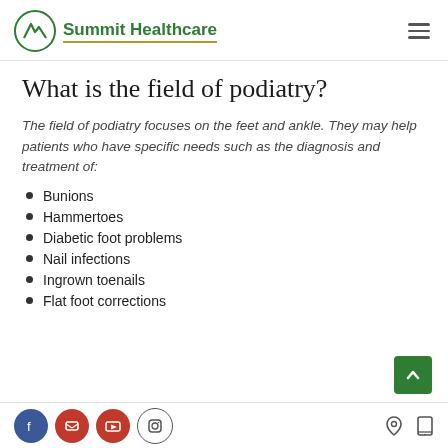Summit Healthcare
What is the field of podiatry?
The field of podiatry focuses on the feet and ankle. They may help patients who have specific needs such as the diagnosis and treatment of:
Bunions
Hammertoes
Diabetic foot problems
Nail infections
Ingrown toenails
Flat foot corrections
Social media icons and navigation icons